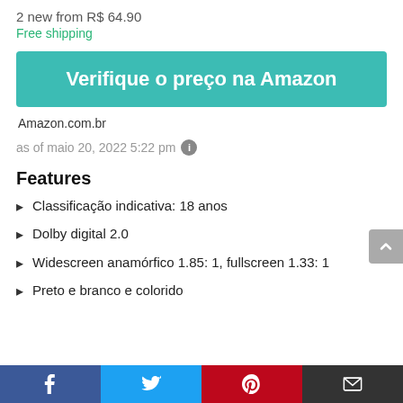2 new from R$ 64.90
Free shipping
Verifique o preço na Amazon
Amazon.com.br
as of maio 20, 2022 5:22 pm
Features
Classificação indicativa: 18 anos
Dolby digital 2.0
Widescreen anamórfico 1.85: 1, fullscreen 1.33: 1
Preto e branco e colorido
[Figure (infographic): Social sharing bar at bottom with Facebook, Twitter, Pinterest, and Email icons]